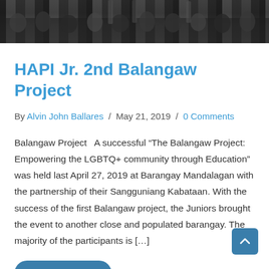[Figure (photo): Cropped photo of a crowd/gathering with chairs, people visible from waist down, dark tones]
HAPI Jr. 2nd Balangaw Project
By Alvin John Ballares / May 21, 2019 / 0 Comments
Balangaw Project   A successful “The Balangaw Project: Empowering the LGBTQ+ community through Education” was held last April 27, 2019 at Barangay Mandalagan with the partnership of their Sangguniang Kabataan. With the success of the first Balangaw project, the Juniors brought the event to another close and populated barangay. The majority of the participants is […]
Read More